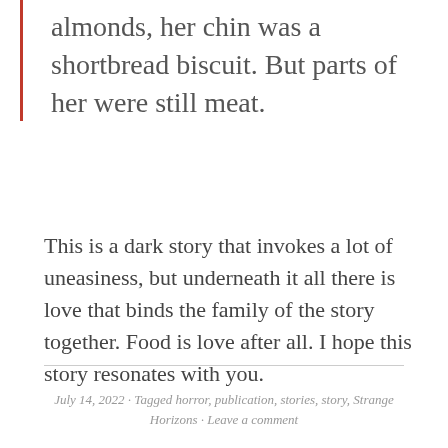almonds, her chin was a shortbread biscuit. But parts of her were still meat.
This is a dark story that invokes a lot of uneasiness, but underneath it all there is love that binds the family of the story together. Food is love after all. I hope this story resonates with you.
July 14, 2022 · Tagged horror, publication, stories, story, Strange Horizons · Leave a comment